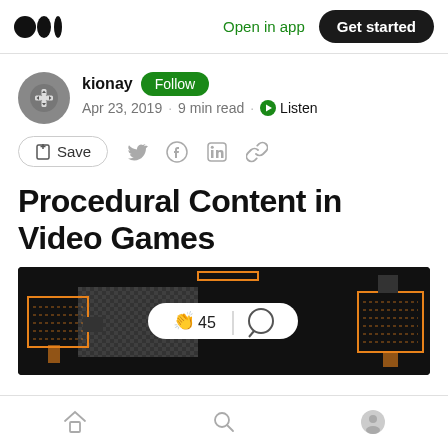Medium — Open in app  Get started
kionay  Follow
Apr 23, 2019 · 9 min read · Listen
Save
Procedural Content in Video Games
[Figure (screenshot): Hero image showing a procedurally generated dungeon/level map on dark background with orange room outlines, overlaid with a white pill-shaped interaction bar showing a clapping hands icon with count 45 and a chat bubble icon]
Home  Search  Profile